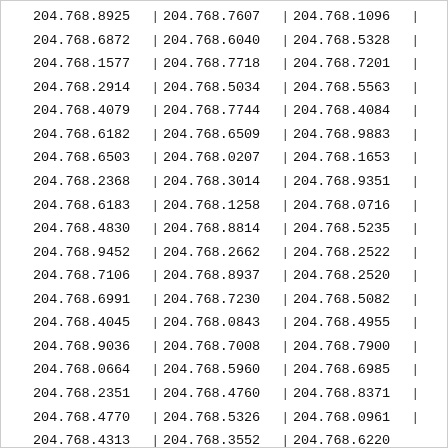| col1 | col2 | col3 |
| --- | --- | --- |
| 204.768.8925 | 204.768.7607 | 204.768.1096 |
| 204.768.6872 | 204.768.6040 | 204.768.5328 |
| 204.768.1577 | 204.768.7718 | 204.768.7201 |
| 204.768.2914 | 204.768.5034 | 204.768.5563 |
| 204.768.4079 | 204.768.7744 | 204.768.4084 |
| 204.768.6182 | 204.768.6509 | 204.768.9883 |
| 204.768.6503 | 204.768.0207 | 204.768.1653 |
| 204.768.2368 | 204.768.3014 | 204.768.9351 |
| 204.768.6183 | 204.768.1258 | 204.768.0716 |
| 204.768.4830 | 204.768.8814 | 204.768.5235 |
| 204.768.9452 | 204.768.2662 | 204.768.2522 |
| 204.768.7106 | 204.768.8937 | 204.768.2520 |
| 204.768.6991 | 204.768.7230 | 204.768.5082 |
| 204.768.4045 | 204.768.0843 | 204.768.4955 |
| 204.768.9036 | 204.768.7008 | 204.768.7900 |
| 204.768.0664 | 204.768.5960 | 204.768.6985 |
| 204.768.2351 | 204.768.4760 | 204.768.8371 |
| 204.768.4770 | 204.768.5326 | 204.768.0961 |
| 204.768.4313 | 204.768.3552 | 204.768.6220 |